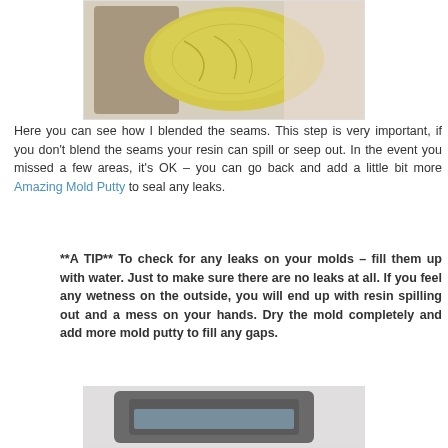[Figure (photo): Photo of yellow mold putty being held, showing blended seams on the surface.]
Here you can see how I blended the seams. This step is very important, if you don't blend the seams your resin can spill or seep out. In the event you missed a few areas, it's OK – you can go back and add a little bit more Amazing Mold Putty to seal any leaks.
**A TIP** To check for any leaks on your molds – fill them up with water. Just to make sure there are no leaks at all. If you feel any wetness on the outside, you will end up with resin spilling out and a mess on your hands. Dry the mold completely and add more mold putty to fill any gaps.
[Figure (photo): Photo showing the bottom of a mold being filled with water to check for leaks.]